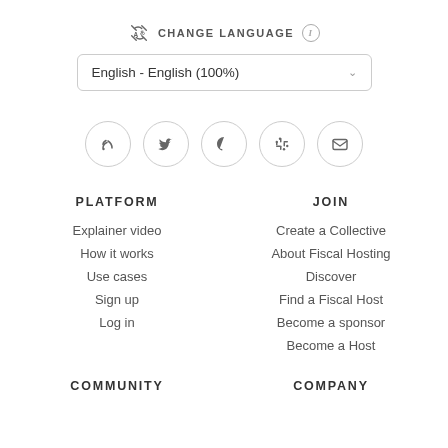CHANGE LANGUAGE
English - English (100%)
[Figure (infographic): Row of 5 social media icon buttons in circles: blog/podcast, Twitter, GitHub, Slack, Email]
PLATFORM
Explainer video
How it works
Use cases
Sign up
Log in
JOIN
Create a Collective
About Fiscal Hosting
Discover
Find a Fiscal Host
Become a sponsor
Become a Host
COMMUNITY
COMPANY